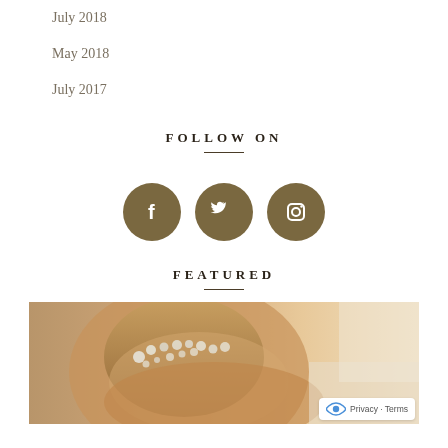July 2018
May 2018
July 2017
FOLLOW ON
[Figure (infographic): Three social media icon circles (Facebook, Twitter, Instagram) in dark olive/brown color]
FEATURED
[Figure (photo): A person with a floral crown of baby's breath, warm toned wedding-style photo, partially visible]